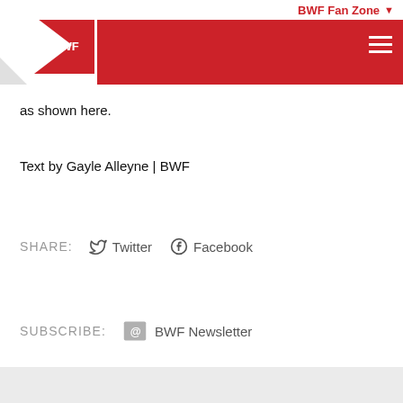BWF Fan Zone
as shown here.
Text by Gayle Alleyne | BWF
SHARE:  Twitter  Facebook
SUBSCRIBE:  BWF Newsletter